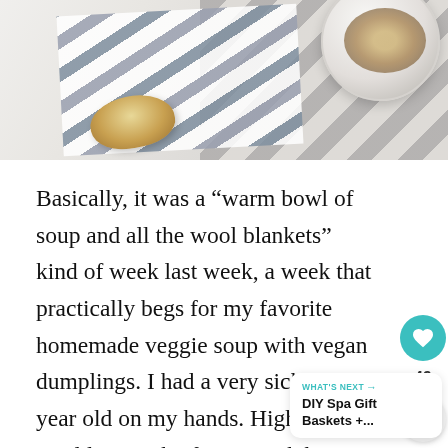[Figure (photo): Photo of a warm bowl of soup and bread on a striped cloth, viewed from above on a marble surface]
Basically, it was a “warm bowl of soup and all the wool blankets” kind of week last week, a week that practically begs for my favorite homemade veggie soup with vegan dumplings. I had a very sick two year old on my hands. High fevers, a cold, a touch of a stomach bug. It was also sub zero temperatures most of the week, with wind chills hitting -30 far more than once.